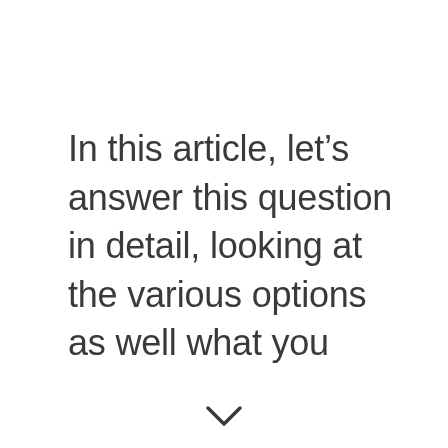In this article, let’s answer this question in detail, looking at the various options as well what you
[Figure (other): A downward-pointing chevron/arrow icon at the bottom center of the page]